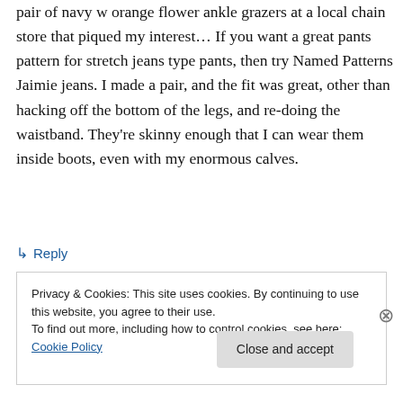pair of navy w orange flower ankle grazers at a local chain store that piqued my interest… If you want a great pants pattern for stretch jeans type pants, then try Named Patterns Jaimie jeans. I made a pair, and the fit was great, other than hacking off the bottom of the legs, and re-doing the waistband. They're skinny enough that I can wear them inside boots, even with my enormous calves.
↳ Reply
Privacy & Cookies: This site uses cookies. By continuing to use this website, you agree to their use.
To find out more, including how to control cookies, see here: Cookie Policy
Close and accept